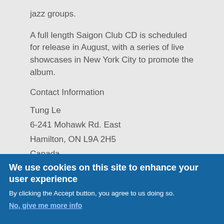jazz groups.
A full length Saigon Club CD is scheduled for release in August, with a series of live showcases in New York City to promote the album.
Contact Information
Tung Le
6-241 Mohawk Rd. East
Hamilton, ON L9A 2H5
Canada
E-mail: lettmusic@hotmail.com
We use cookies on this site to enhance your user experience
By clicking the Accept button, you agree to us doing so.
No, give me more info